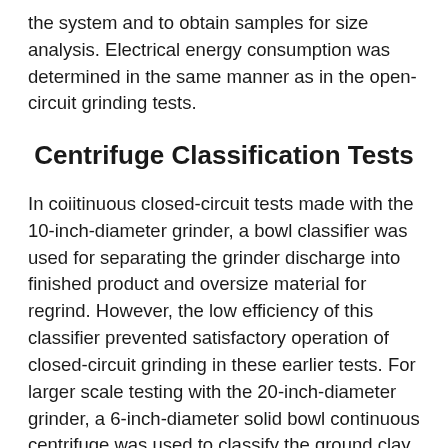the system and to obtain samples for size analysis. Electrical energy consumption was determined in the same manner as in the open-circuit grinding tests.
Centrifuge Classification Tests
In coiitinuous closed-circuit tests made with the 10-inch-diameter grinder, a bowl classifier was used for separating the grinder discharge into finished product and oversize material for regrind. However, the low efficiency of this classifier prevented satisfactory operation of closed-circuit grinding in these earlier tests. For larger scale testing with the 20-inch-diameter grinder, a 6-inch-diameter solid bowl continuous centrifuge was used to classify the ground clay in closed-circuit grinding tests. Use of the centrifuge as a classifier allowed